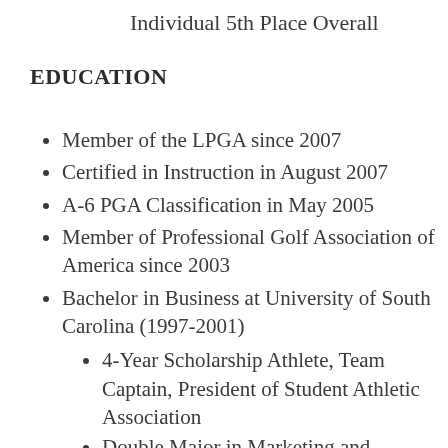Individual 5th Place Overall
EDUCATION
Member of the LPGA since 2007
Certified in Instruction in August 2007
A-6 PGA Classification in May 2005
Member of Professional Golf Association of America since 2003
Bachelor in Business at University of South Carolina (1997-2001)
4-Year Scholarship Athlete, Team Captain, President of Student Athletic Association
Double Major in Marketing and Management; Minor in Sports